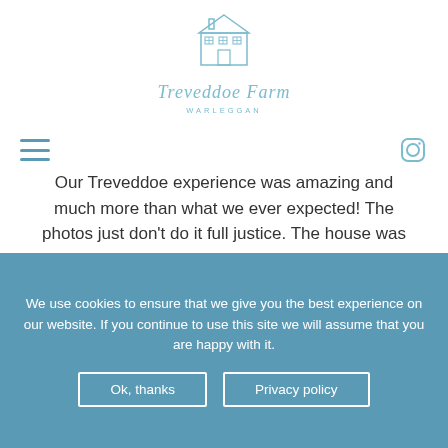[Figure (logo): Treveddoe Farm Warleggan logo with illustrated farmhouse building above cursive text]
[Figure (infographic): Navigation bar with hamburger menu icon on left and Instagram icon on right]
Our Treveddoe experience was amazing and much more than what we ever expected! The photos just don't do it full justice. The house was clean, tidy, perfectly stocked and very comfortable! The surroundings were stunning and the home's location was perfect to explore the surrounding areas! Thank you for our super holiday! X"
[Figure (infographic): Carousel navigation dots: 6 dots, first one is open circle (active), remaining 5 are filled circles]
We use cookies to ensure that we give you the best experience on our website. If you continue to use this site we will assume that you are happy with it.
Ok, thanks
Privacy policy